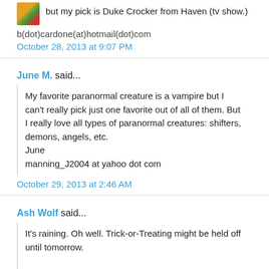but my pick is Duke Crocker from Haven (tv show.)
b(dot)cardone(at)hotmail(dot)com
October 28, 2013 at 9:07 PM
June M. said...
My favorite paranormal creature is a vampire but I can't really pick just one favorite out of all of them. But I really love all types of paranormal creatures: shifters, demons, angels, etc.
June
manning_J2004 at yahoo dot com
October 29, 2013 at 2:46 AM
Ash Wolf said...
It's raining. Oh well. Trick-or-Treating might be held off until tomorrow.
You can contact me at ash.wolf@hotmail.com